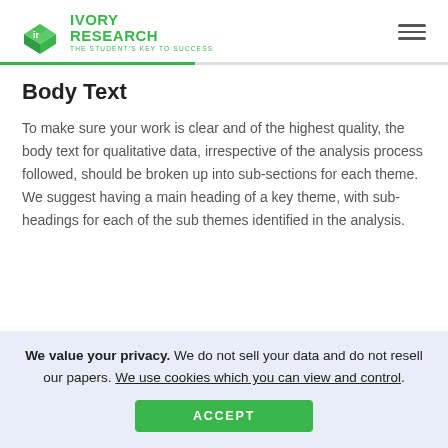IVORY RESEARCH – THE STUDENT'S KEY TO SUCCESS
Body Text
To make sure your work is clear and of the highest quality, the body text for qualitative data, irrespective of the analysis process followed, should be broken up into sub-sections for each theme. We suggest having a main heading of a key theme, with sub-headings for each of the sub themes identified in the analysis.
We value your privacy. We do not sell your data and do not resell our papers. We use cookies which you can view and control.